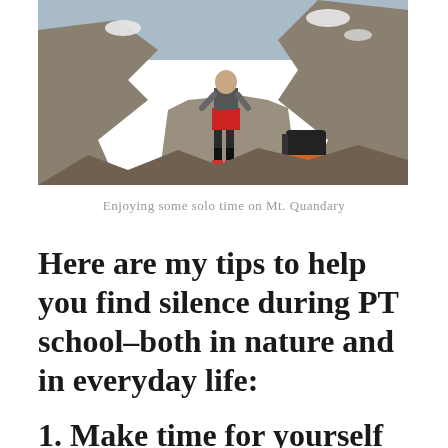[Figure (photo): Person in red shorts standing on rocky mountain terrain (Mt. Quandary) with a backpack visible to the right. Rocky cliffs in background with patches of snow.]
Enjoying some solo time on Mt. Quandary
Here are my tips to help you find silence during PT school–both in nature and in everyday life:
1. Make time for yourself